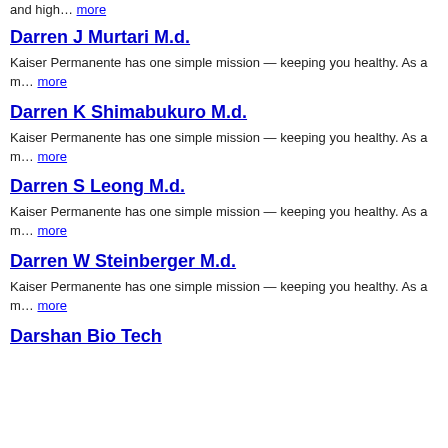and high… more
Darren J Murtari M.d.
Kaiser Permanente has one simple mission — keeping you healthy. As a m… more
Darren K Shimabukuro M.d.
Kaiser Permanente has one simple mission — keeping you healthy. As a m… more
Darren S Leong M.d.
Kaiser Permanente has one simple mission — keeping you healthy. As a m… more
Darren W Steinberger M.d.
Kaiser Permanente has one simple mission — keeping you healthy. As a m… more
Darshan Bio Tech